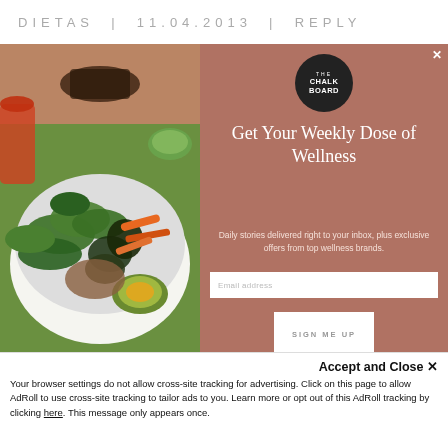DIETAS | 11.04.2013 | REPLY
[Figure (photo): Photo of a salad bowl with avocado, spinach, carrots, seaweed and other vegetables on a wooden table with various ingredients]
[Figure (infographic): Newsletter signup modal panel with The Chalk Board logo, headline 'Get Your Weekly Dose of Wellness', subtext, email input, and SIGN ME UP button]
Get Your Weekly Dose of Wellness
Daily stories delivered right to your inbox, plus exclusive offers from top wellness brands.
Email address
SIGN ME UP
By clicking SIGN ME UP, you agree to receive emails from The Chalkboard Mag and agree to our terms of use and privacy policy.
Accept and Close ✕
Your browser settings do not allow cross-site tracking for advertising. Click on this page to allow AdRoll to use cross-site tracking to tailor ads to you. Learn more or opt out of this AdRoll tracking by clicking here. This message only appears once.